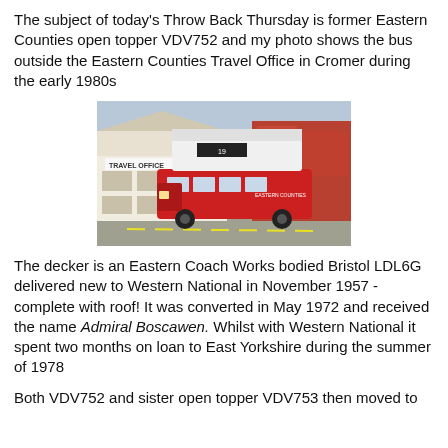The subject of today's Throw Back Thursday is former Eastern Counties open topper VDV752 and my photo shows the bus outside the Eastern Counties Travel Office in Cromer during the early 1980s
[Figure (photo): A red and white open-top double decker bus (Eastern Counties VDV752) parked outside a Travel Office building in Cromer, early 1980s. The bus has 'Eastern Counties' branding visible on the side.]
The decker is an Eastern Coach Works bodied Bristol LDL6G delivered new to Western National in November 1957 - complete with roof! It was converted in May 1972 and received the name Admiral Boscawen. Whilst with Western National it spent two months on loan to East Yorkshire during the summer of 1978
Both VDV752 and sister open topper VDV753 then moved to